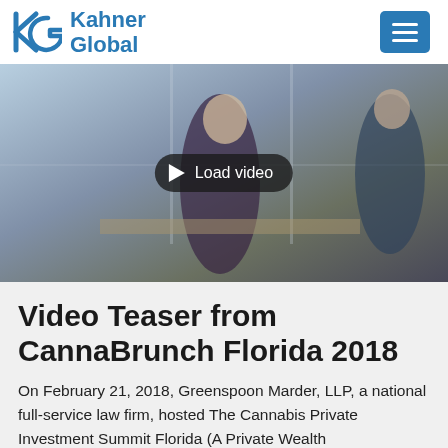Kahner Global
[Figure (photo): Video thumbnail showing people in an office/meeting setting with a 'Load video' play button overlay]
Video Teaser from CannaBrunch Florida 2018
On February 21, 2018, Greenspoon Marder, LLP, a national full-service law firm, hosted The Cannabis Private Investment Summit Florida (A Private Wealth